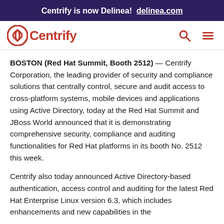Centrify is now Delinea! delinea.com
[Figure (logo): Centrify logo with red circular icon and red wordmark 'Centrify', plus search and menu icons on the right]
BOSTON (Red Hat Summit, Booth 2512) — Centrify Corporation, the leading provider of security and compliance solutions that centrally control, secure and audit access to cross-platform systems, mobile devices and applications using Active Directory, today at the Red Hat Summit and JBoss World announced that it is demonstrating comprehensive security, compliance and auditing functionalities for Red Hat platforms in its booth No. 2512 this week.
Centrify also today announced Active Directory-based authentication, access control and auditing for the latest Red Hat Enterprise Linux version 6.3, which includes enhancements and new capabilities in the area of downstream authentication, security ...